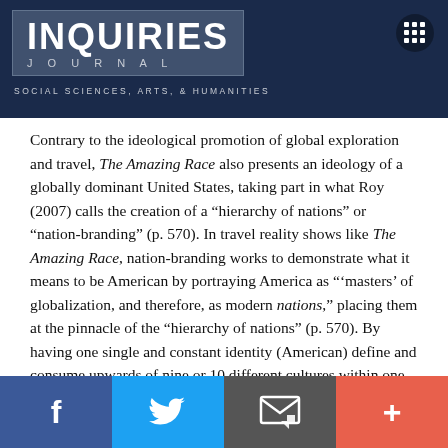INQUIRIES JOURNAL | SOCIAL SCIENCES, ARTS, & HUMANITIES
Contrary to the ideological promotion of global exploration and travel, The Amazing Race also presents an ideology of a globally dominant United States, taking part in what Roy (2007) calls the creation of a “hierarchy of nations” or “nation-branding” (p. 570). In travel reality shows like The Amazing Race, nation-branding works to demonstrate what it means to be American by portraying America as “‘masters’ of globalization, and therefore, as modern nations,” placing them at the pinnacle of the “hierarchy of nations” (p. 570). By having one single and constant identity (American) define and consume upwards of nine or 10 different cultures within one season alone demonstrates what Harvey (2006) calls a “hegemonic ploy” (p. 215).
This hegemonic ploy “can only be maintained through a struggle and tension between dominant and subordinate groups”
Facebook | Twitter | Email | +